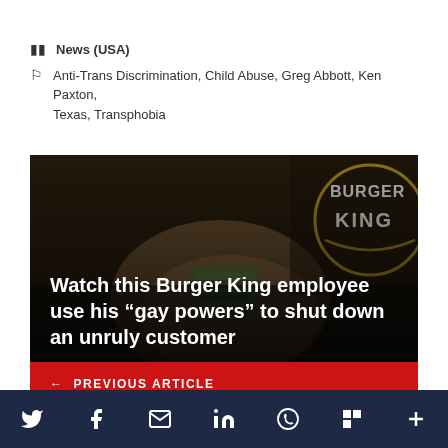News (USA)
Anti-Trans Discrimination, Child Abuse, Greg Abbott, Ken Paxton, Texas, Transphobia
[Figure (photo): Burger King branded bag/packaging on a dark background with Burger King logo visible in upper right]
Watch this Burger King employee use his “gay powers” to shut down an unruly customer
← PREVIOUS ARTICLE
Social media share bar with Twitter, Facebook, Email, LinkedIn, WhatsApp, Flipboard, and More icons